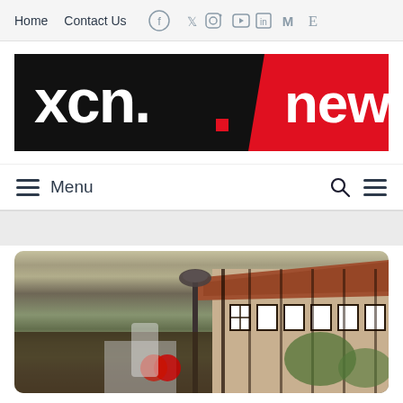Home  Contact Us  [social icons: Facebook, Twitter, Instagram, YouTube, LinkedIn, Medium, Economist]
[Figure (logo): XCN. news logo: left half black background with 'xcn.' in bold white text and a red square dot, right half red background with 'news' in bold white text, diagonal split between sections]
[Figure (other): Menu navigation bar with hamburger menu icon and 'Menu' text on left, search icon and hamburger icon on right]
[Figure (photo): Photograph of a European-style half-timbered building with red brick roof and white/dark timber framing, a street lamp in the foreground, trees visible, and a Red Bull logo flag/banner partially visible at bottom]